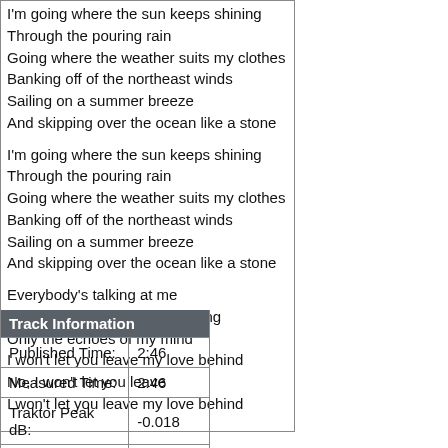I'm going where the sun keeps shining
Through the pouring rain
Going where the weather suits my clothes
Banking off of the northeast winds
Sailing on a summer breeze
And skipping over the ocean like a stone

I'm going where the sun keeps shining
Through the pouring rain
Going where the weather suits my clothes
Banking off of the northeast winds
Sailing on a summer breeze
And skipping over the ocean like a stone

Everybody's talking at me
Can't hear a word they're saying
Only the echoes of my mind
I won't let you leave my love behind
No, I won't let you leave
I won't let you leave my love behind
| Track Information |  |
| --- | --- |
| Published Time: | 2:46 |
| Measured Time: | 2:46 |
| Traktor Peak dB: | -0.018 |
| Traktor Perceived dB: | 1.669 |